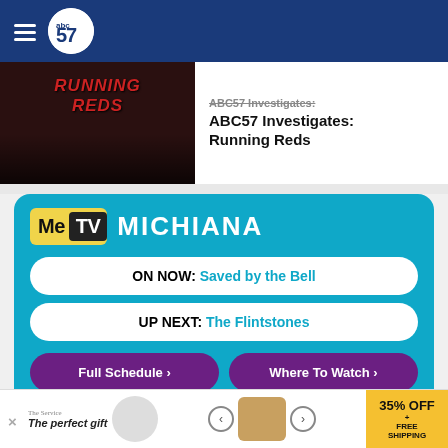abc57
ABC57 Investigates: Running Reds
[Figure (screenshot): MeTV Michiana widget showing ON NOW: Saved by the Bell and UP NEXT: The Flintstones with Full Schedule and Where To Watch buttons]
[Figure (photo): Partial advertisement banner: The perfect gift - 35% OFF + FREE SHIPPING]